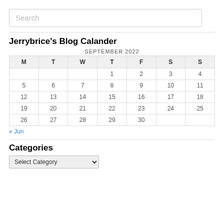Search
Jerrybrice’s Blog Calander
| M | T | W | T | F | S | S |
| --- | --- | --- | --- | --- | --- | --- |
|  |  |  | 1 | 2 | 3 | 4 |
| 5 | 6 | 7 | 8 | 9 | 10 | 11 |
| 12 | 13 | 14 | 15 | 16 | 17 | 18 |
| 19 | 20 | 21 | 22 | 23 | 24 | 25 |
| 26 | 27 | 28 | 29 | 30 |  |  |
« Jun
Categories
Select Category